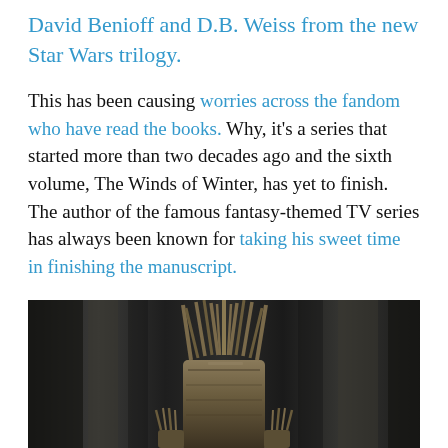David Benioff and D.B. Weiss from the new Star Wars trilogy.
This has been causing worries across the fandom who have read the books. Why, it's a series that started more than two decades ago and the sixth volume, The Winds of Winter, has yet to finish. The author of the famous fantasy-themed TV series has always been known for taking his sweet time in finishing the manuscript.
[Figure (photo): Photo of the Iron Throne from Game of Thrones — a large throne made of swords, set against a dark blurred background.]